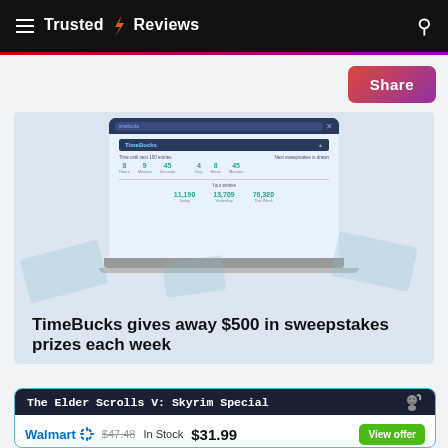Trusted Reviews
[Figure (screenshot): Share button (gradient pink-purple) in top right area]
[Figure (illustration): TimeBucks advertisement banner showing a laptop with the TimeBucks dashboard and text 'TimeBucks gives away $500 in sweepstakes prizes each week']
TimeBucks gives away $500 in sweepstakes prizes each week
| Retailer | Original Price | Stock | Sale Price | Action |
| --- | --- | --- | --- | --- |
| Walmart | $47.48 | In Stock | $31.99 | View offer |
The Elder Scrolls V: Skyrim Special